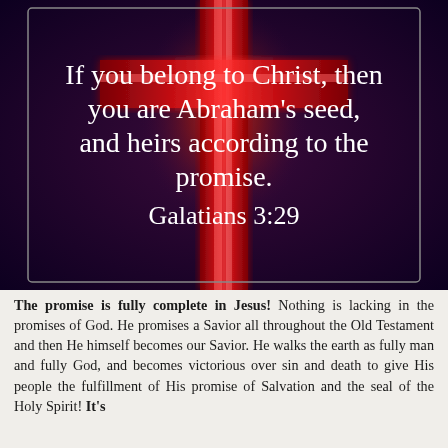[Figure (illustration): Dark purple/navy background with a glowing red cross in the center. White text overlaid reads: 'If you belong to Christ, then you are Abraham's seed, and heirs according to the promise. Galatians 3:29']
The promise is fully complete in Jesus! Nothing is lacking in the promises of God. He promises a Savior all throughout the Old Testament and then He himself becomes our Savior. He walks the earth as fully man and fully God, and becomes victorious over sin and death to give His people the fulfillment of His promise of Salvation and the seal of the Holy Spirit! It's ...